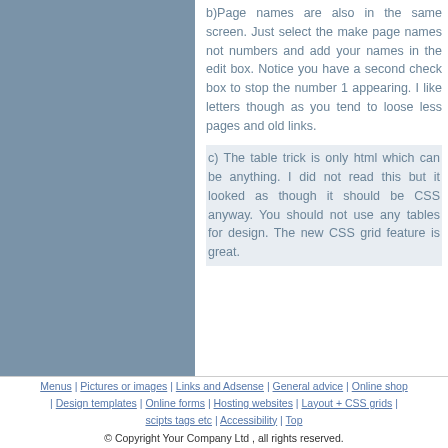b)Page names are also in the same screen. Just select the make page names not numbers and add your names in the edit box. Notice you have a second check box to stop the number 1 appearing. I like letters though as you tend to loose less pages and old links.
c) The table trick is only html which can be anything. I did not read this but it looked as though it should be CSS anyway. You should not use any tables for design. The new CSS grid feature is great.
Menus | Pictures or images | Links and Adsense | General advice | Online shop | Design templates | Online forms | Hosting websites | Layout + CSS grids | scipts tags etc | Accessibility | Top © Copyright Your Company Ltd , all rights reserved.